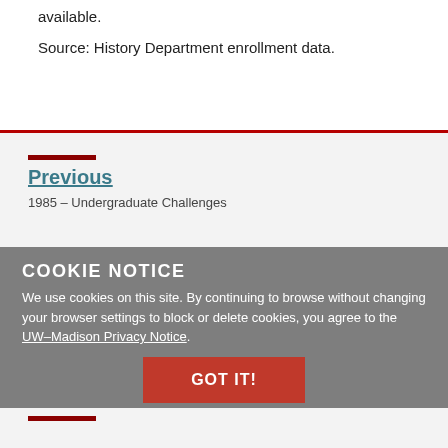available.
Source: History Department enrollment data.
Previous
1985 – Undergraduate Challenges
COOKIE NOTICE
We use cookies on this site. By continuing to browse without changing your browser settings to block or delete cookies, you agree to the UW–Madison Privacy Notice.
GOT IT!